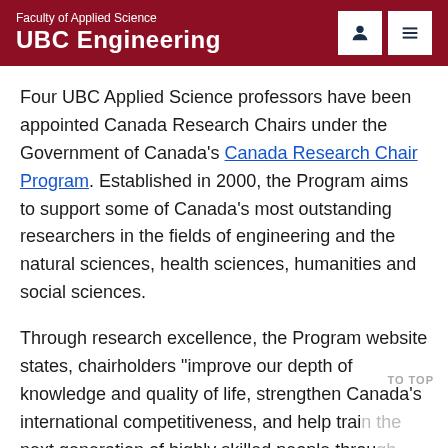Faculty of Applied Science
UBC Engineering
Four UBC Applied Science professors have been appointed Canada Research Chairs under the Government of Canada's Canada Research Chair Program. Established in 2000, the Program aims to support some of Canada's most outstanding researchers in the fields of engineering and the natural sciences, health sciences, humanities and social sciences.
Through research excellence, the Program website states, chairholders "improve our depth of knowledge and quality of life, strengthen Canada's international competitiveness, and help train the next generation of highly skilled people through student supervision, teaching, and the coordination